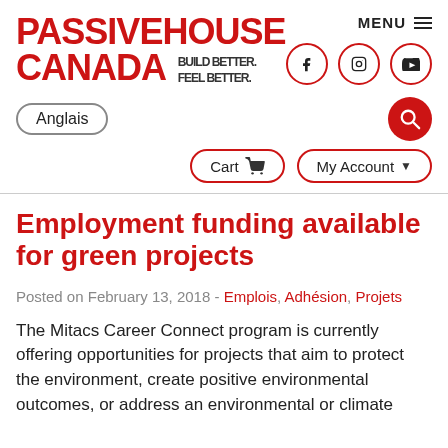PASSIVEHOUSE CANADA — Build better. Feel better. — MENU, social icons (Facebook, Instagram, YouTube)
Anglais
Cart   My Account
Employment funding available for green projects
Posted on February 13, 2018 - Emplois, Adhésion, Projets
The Mitacs Career Connect program is currently offering opportunities for projects that aim to protect the environment, create positive environmental outcomes, or address an environmental or climate